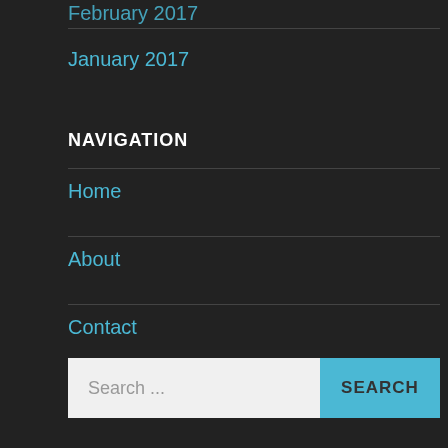February 2017
January 2017
NAVIGATION
Home
About
Contact
Search ...